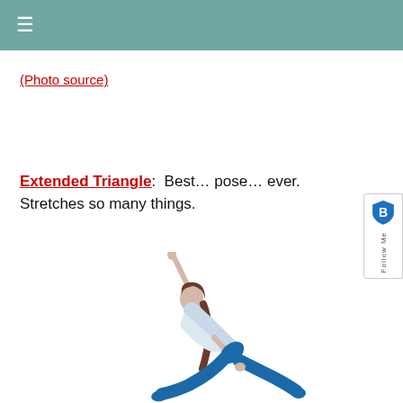≡
(Photo source)
Extended Triangle:  Best… pose… ever.  Stretches so many things.
[Figure (photo): Woman performing Extended Triangle yoga pose, wearing blue leggings and white top, one arm raised upward and other toward the floor, against white background]